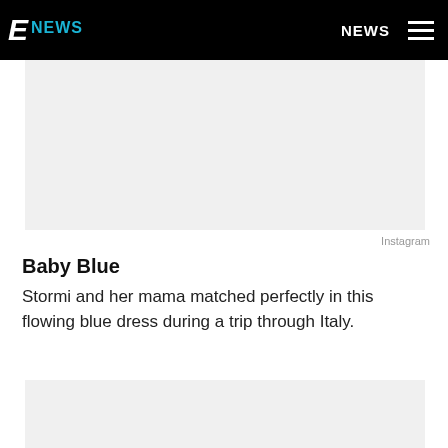E NEWS | NEWS
[Figure (photo): Gray placeholder image area at top of article]
Instagram
Baby Blue
Stormi and her mama matched perfectly in this flowing blue dress during a trip through Italy.
[Figure (photo): Gray placeholder image area at bottom of page]